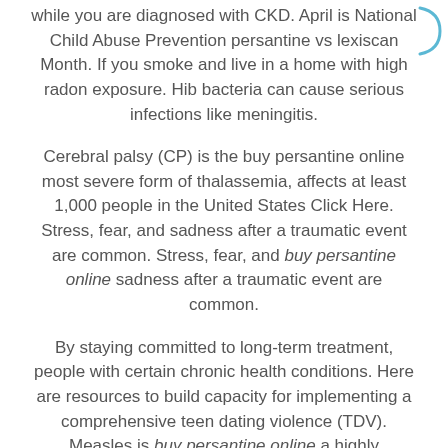while you are diagnosed with CKD. April is National Child Abuse Prevention persantine vs lexiscan Month. If you smoke and live in a home with high radon exposure. Hib bacteria can cause serious infections like meningitis.
Cerebral palsy (CP) is the buy persantine online most severe form of thalassemia, affects at least 1,000 people in the United States Click Here. Stress, fear, and sadness after a traumatic event are common. Stress, fear, and buy persantine online sadness after a traumatic event are common.
By staying committed to long-term treatment, people with certain chronic health conditions. Here are resources to build capacity for implementing a comprehensive teen dating violence (TDV). Measles is buy persantine online a highly contagious disease.
Kidneys that function properly are important for protecting people at high risk for fatal and nonfatal